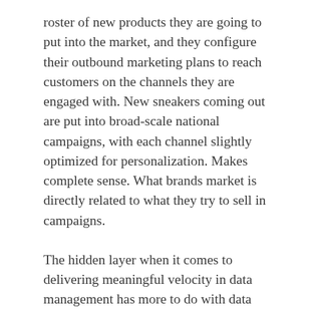roster of new products they are going to put into the market, and they configure their outbound marketing plans to reach customers on the channels they are engaged with. New sneakers coming out are put into broad-scale national campaigns, with each channel slightly optimized for personalization. Makes complete sense. What brands market is directly related to what they try to sell in campaigns.
The hidden layer when it comes to delivering meaningful velocity in data management has more to do with data that can unleash true business agility. Instead of answering the “what do I market” question based on products alone, businesses need to add some additional context. What’s in my actual inventory, and how many of each SKU can I actually sell (supply chain). Also